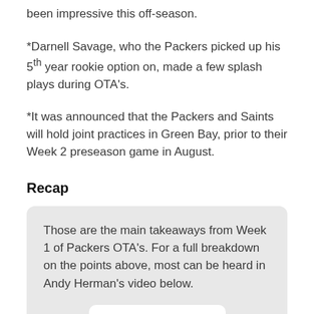been impressive this off-season.
*Darnell Savage, who the Packers picked up his 5th year rookie option on, made a few splash plays during OTA's.
*It was announced that the Packers and Saints will hold joint practices in Green Bay, prior to their Week 2 preseason game in August.
Recap
Those are the main takeaways from Week 1 of Packers OTA's. For a full breakdown on the points above, most can be heard in Andy Herman's video below.
Got it!